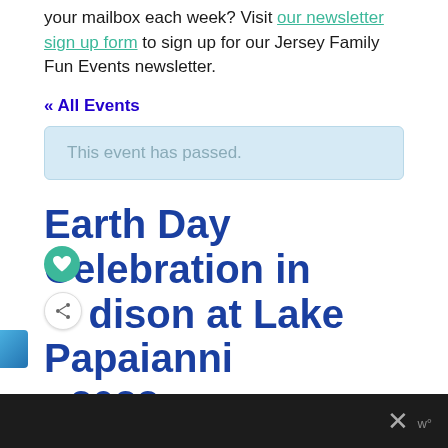your mailbox each week? Visit our newsletter sign up form to sign up for our Jersey Family Fun Events newsletter.
« All Events
This event has passed.
Earth Day Celebration in Edison at Lake Papaianni 2022
Here's another Earth Day event in Edison, New Jersey.